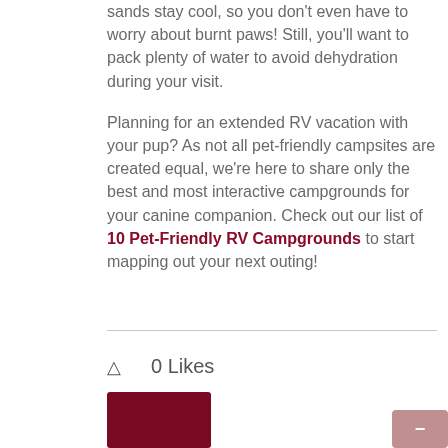sands stay cool, so you don't even have to worry about burnt paws! Still, you'll want to pack plenty of water to avoid dehydration during your visit.
Planning for an extended RV vacation with your pup? As not all pet-friendly campsites are created equal, we're here to share only the best and most interactive campgrounds for your canine companion. Check out our list of 10 Pet-Friendly RV Campgrounds to start mapping out your next outing!
0 Likes